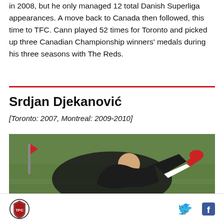in 2008, but he only managed 12 total Danish Superliga appearances. A move back to Canada then followed, this time to TFC. Cann played 52 times for Toronto and picked up three Canadian Championship winners' medals during his three seasons with The Reds.
Srdjan Djekanović
[Toronto: 2007, Montreal: 2009-2010]
[Figure (photo): Soccer player in dark uniform performing an acrobatic move on a green field, photographed from side angle]
Logo and social media icons (Twitter, Facebook)